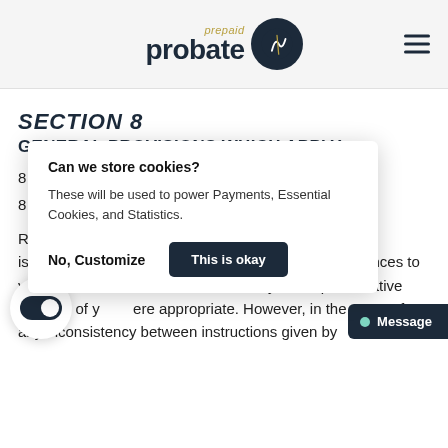prepaid probate
SECTION 8
GENERAL PROVISIONS WHICH APPLY
8
8 instructions of a
R unless he/she is g to your Probate Services. References to you will therefore in references to your Representative (instead of y ere appropriate. However, in the event of any inconsistency between instructions given by
[Figure (other): Cookie consent popup with title 'Can we store cookies?', body text 'These will be used to power Payments, Essential Cookies, and Statistics.', and two buttons: 'No, Customize' and 'This is okay']
[Figure (other): Toggle switch UI element, circular white button with dark toggle switched on]
[Figure (other): Message button in dark navy with green dot and text 'Message']